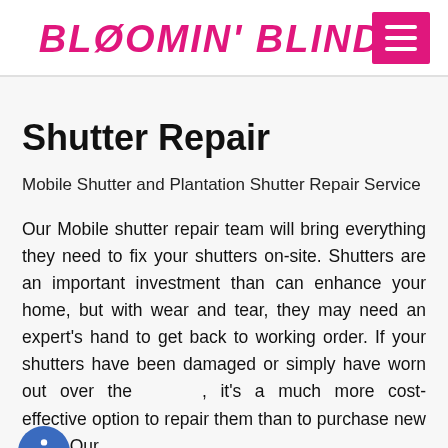[Figure (logo): Bloomin' Blinds logo in pink italic bold uppercase text with a hamburger menu button in pink on the right]
Shutter Repair
Mobile Shutter and Plantation Shutter Repair Service
Our Mobile shutter repair team will bring everything they need to fix your shutters on-site. Shutters are an important investment than can enhance your home, but with wear and tear, they may need an expert's hand to get back to working order. If your shutters have been damaged or simply have worn out over the , it's a much more cost-effective option to repair them than to purchase new ones. Our